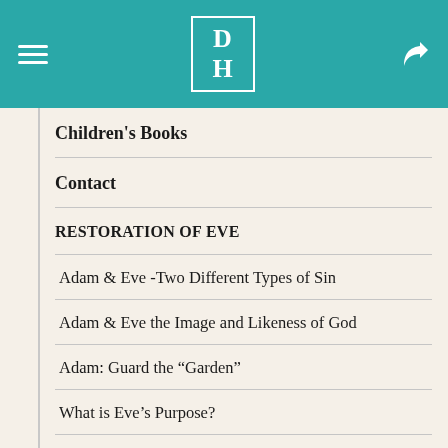DH [logo with navigation bar]
Children's Books
Contact
RESTORATION OF EVE
Adam & Eve -Two Different Types of Sin
Adam & Eve the Image and Likeness of God
Adam: Guard the “Garden”
What is Eve’s Purpose?
Eve is the Powerful “Helper”
Adam is the “Head” of Eve